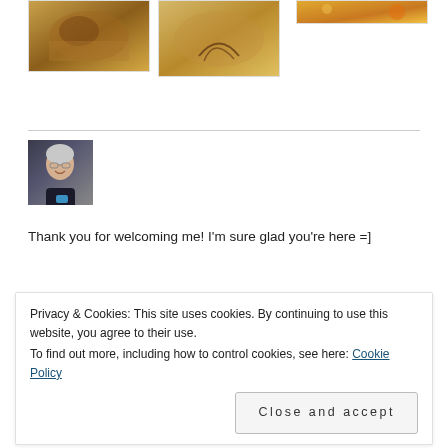[Figure (photo): Food thumbnail image 1 - baked/cooked food with dark garnish]
[Figure (photo): Food thumbnail image 2 - breaded or crumbled food with dark decoration]
[Figure (photo): Food thumbnail image 3 - food with yellow/orange tones]
[Figure (photo): Portrait photo of an older woman with white/gray hair, glasses, smiling, holding a blue cup, wearing black]
Thank you for welcoming me! I'm sure glad you're here =]
Privacy & Cookies: This site uses cookies. By continuing to use this website, you agree to their use.
To find out more, including how to control cookies, see here: Cookie Policy
Close and accept